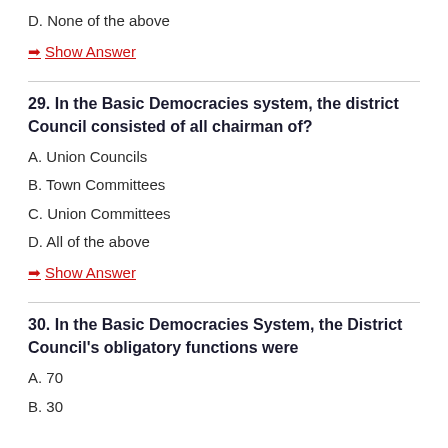D. None of the above
➡ Show Answer
29. In the Basic Democracies system, the district Council consisted of all chairman of?
A. Union Councils
B. Town Committees
C. Union Committees
D. All of the above
➡ Show Answer
30. In the Basic Democracies System, the District Council's obligatory functions were
A. 70
B. 30